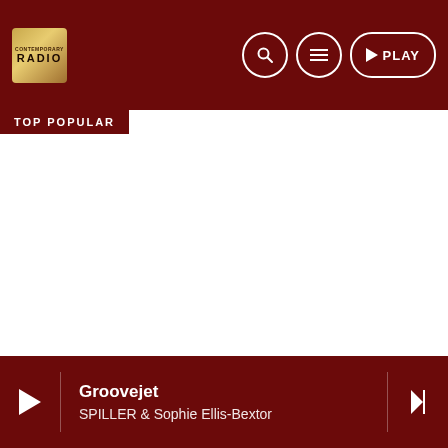RADIO | TOP POPULAR | PLAY
TOP POPULAR
Groovejet
SPILLER & Sophie Ellis-Bextor